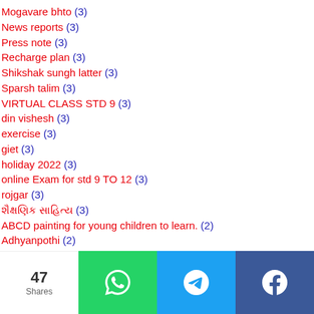Mogavare bhto (3)
News reports (3)
Press note (3)
Recharge plan (3)
Shikshak sungh latter (3)
Sparsh talim (3)
VIRTUAL CLASS STD 9 (3)
din vishesh (3)
exercise (3)
giet (3)
holiday 2022 (3)
online Exam for std 9 TO 12 (3)
rojgar (3)
શૈક્ષણિક સાહિત્ય (3)
ABCD painting for young children to learn. (2)
Adhyanpothi (2)
47 Shares